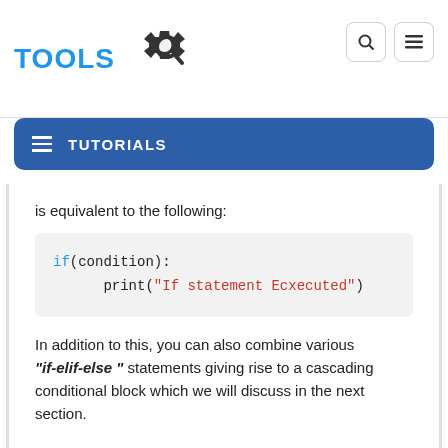[Figure (logo): TOOLS logo with gear and magnifying glass icon, blue text]
TUTORIALS
is equivalent to the following:
if(condition):
    print("If statement Ecxecuted")
In addition to this, you can also combine various "if-elif-else " statements giving rise to a cascading conditional block which we will discuss in the next section.